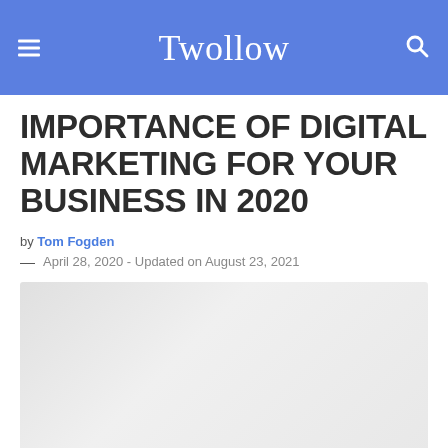Twollow
IMPORTANCE OF DIGITAL MARKETING FOR YOUR BUSINESS IN 2020
by Tom Fogden
— April 28, 2020 - Updated on August 23, 2021
[Figure (photo): Article featured image placeholder, light gray gradient background]